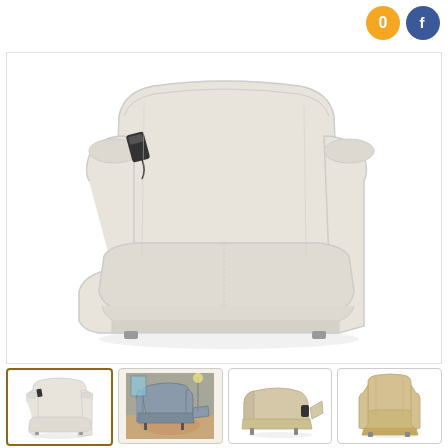[Figure (photo): Top-right corner icons: orange circle with '0' and Facebook blue circle logo]
[Figure (photo): Main large product image of a cream/white upholstered power recliner chair with remote control on the armrest, shown in three-quarter view on white background]
[Figure (photo): Thumbnail 1 (selected, highlighted border): same cream recliner chair, front-angle view]
[Figure (photo): Thumbnail 2: blue-gray recliner chair in a room setting]
[Figure (photo): Thumbnail 3: beige/tan recliner chair fully reclined, white background]
[Figure (photo): Thumbnail 4: tan/beige lift recliner chair in upright position, white background]